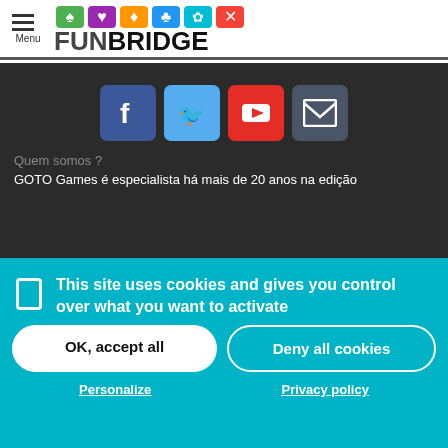[Figure (logo): Funbridge logo with colorful card suit icons above the text FUNBRIDGE]
[Figure (infographic): Social media icons row: Facebook, Twitter, YouTube, Email]
Quem somos ?
GOTO Games é especialista há mais de 20 anos na edição
This site uses cookies and gives you control over what you want to activate
OK, accept all
Deny all cookies
Personalize
Privacy policy